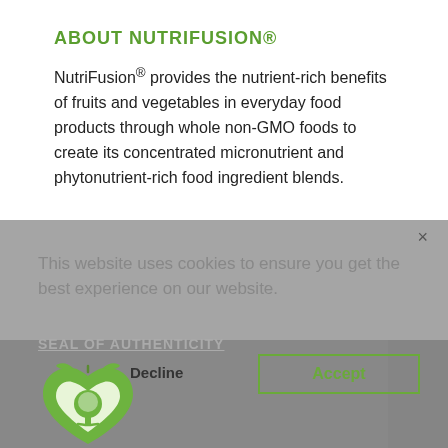ABOUT NUTRIFUSION®
NutriFusion® provides the nutrient-rich benefits of fruits and vegetables in everyday food products through whole non-GMO foods to create its concentrated micronutrient and phytonutrient-rich food ingredient blends.
This website uses cookies to ensure you get the best experience on our website.
SEAL OF AUTHENTICITY
Decline
Accept
[Figure (logo): NutriFusion green apple/heart logo with tree inside]